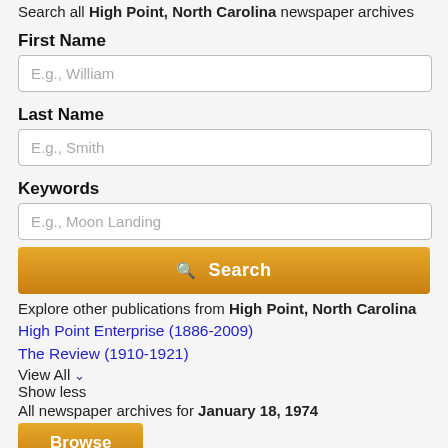Search all High Point, North Carolina newspaper archives
First Name
E.g., William
Last Name
E.g., Smith
Keywords
E.g., Moon Landing
Search
Explore other publications from High Point, North Carolina
High Point Enterprise (1886-2009)
The Review (1910-1921)
View All
Show less
All newspaper archives for January 18, 1974
Browse